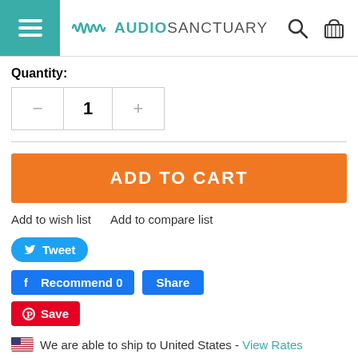Audio Sanctuary
Quantity:
- 1 +
ADD TO CART
Add to wish list   Add to compare list
Tweet
Recommend 0  Share
Save
We are able to ship to United States - View Rates